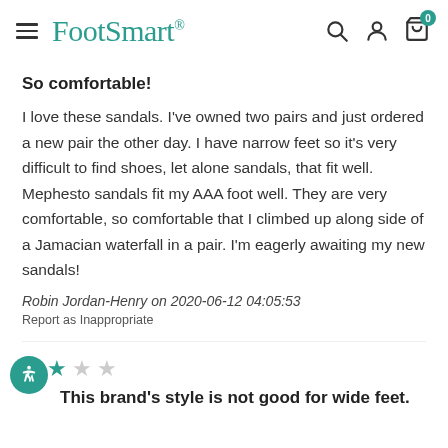FootSmart
So comfortable!
I love these sandals. I've owned two pairs and just ordered a new pair the other day. I have narrow feet so it's very difficult to find shoes, let alone sandals, that fit well. Mephesto sandals fit my AAA foot well. They are very comfortable, so comfortable that I climbed up along side of a Jamacian waterfall in a pair. I'm eagerly awaiting my new sandals!
Robin Jordan-Henry on 2020-06-12 04:05:53
Report as Inappropriate
This brand's style is not good for wide feet.